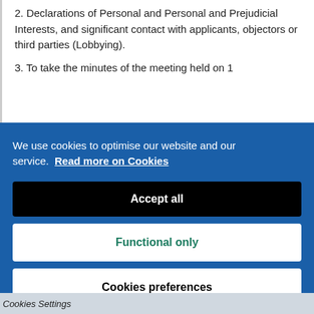2. Declarations of Personal and Personal and Prejudicial Interests, and significant contact with applicants, objectors or third parties (Lobbying).
3. To take the minutes of the meeting held on 1
We use cookies to optimise our website and our service. Read more on Cookies
Accept all
Functional only
Cookies preferences
Cookies Settings